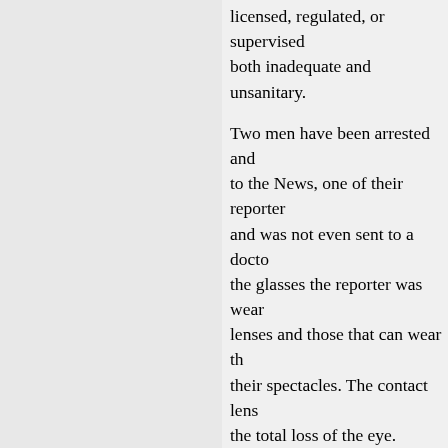licensed, regulated, or supervised both inadequate and unsanitary.
Two men have been arrested and to the News, one of their reporters and was not even sent to a doctor the glasses the reporter was wearing lenses and those that can wear their spectacles. The contact lens the total loss of the eye.
Even if the accused are convicted operators who, according to the worst, damaging their customers believes it is being served by licensed.
High-powered advertisements interest are being used to sell a h beneficial to the user; but, on the
President Johnson is well aware approved December 30, 1963, th proclamation. He began it with a
“He that is stricken blind cann
He went on to say: